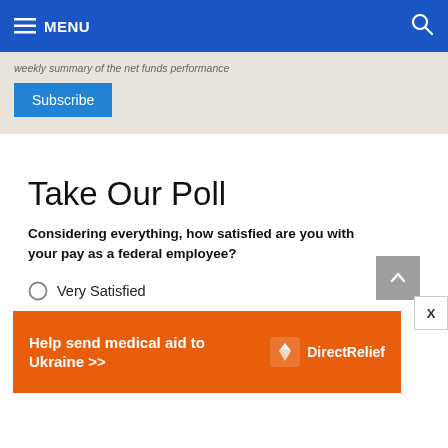MENU
weekly summary of the net funds performance
Subscribe
Take Our Poll
Considering everything, how satisfied are you with your pay as a federal employee?
Very Satisfied
Satisfied
Neutral
[Figure (other): Advertisement banner: Help send medical aid to Ukraine >> DirectRelief logo]